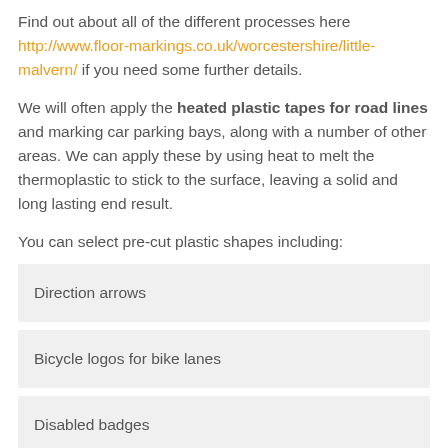Find out about all of the different processes here http://www.floor-markings.co.uk/worcestershire/little-malvern/ if you need some further details.
We will often apply the heated plastic tapes for road lines and marking car parking bays, along with a number of other areas. We can apply these by using heat to melt the thermoplastic to stick to the surface, leaving a solid and long lasting end result.
You can select pre-cut plastic shapes including:
Direction arrows
Bicycle logos for bike lanes
Disabled badges
Play area activities
You could also choose to have a sign or marking for this area and...